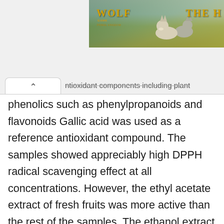[Figure (screenshot): Advertisement banner for 'Wolf Game: The Wild Kingdom' showing wolves in a field, partially cropped on the right side showing 'THE H']
ntioxidant components including plant phenolics such as phenylpropanoids and flavonoids Gallic acid was used as a reference antioxidant compound. The samples showed appreciably high DPPH radical scavenging effect at all concentrations. However, the ethyl acetate extract of fresh fruits was more active than the rest of the samples. The ethanol extract of fruits of L. siceraria was also evaluated for antioxidant activity. The results obtained in this study also indicated that the